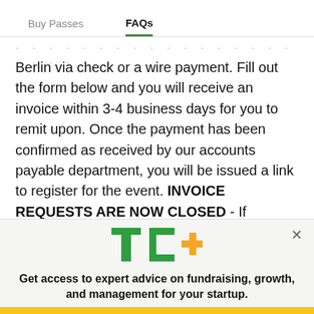Buy Passes   FAQs
. . . . . . . . . . . . . . . . . . . . . . . .
Berlin via check or a wire payment. Fill out the form below and you will receive an invoice within 3-4 business days for you to remit upon. Once the payment has been confirmed as received by our accounts payable department, you will be issued a link to register for the event. INVOICE REQUESTS ARE NOW CLOSED - If
[Figure (logo): TechCrunch TC+ logo in green with orange plus sign]
Get access to expert advice on fundraising, growth, and management for your startup.
EXPLORE NOW